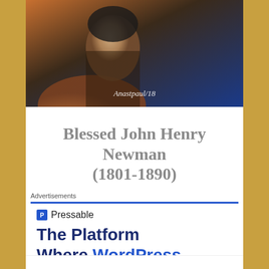[Figure (photo): Close-up portrait photo of Blessed John Henry Newman with watermark text 'Anastpaul/18']
Blessed John Henry Newman (1801-1890)
Advertisements
[Figure (logo): Pressable logo with blue P icon and dotted separator line]
The Platform Where WordPress Works Best